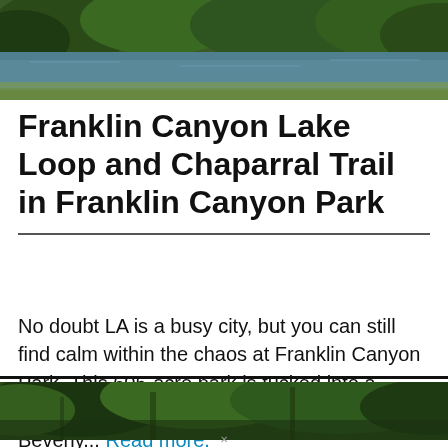[Figure (photo): Aerial or lakeside view of Franklin Canyon Lake with green trees and calm water reflecting surrounding hills]
Franklin Canyon Lake Loop and Chaparral Trail in Franklin Canyon Park
No doubt LA is a busy city, but you can still find calm within the chaos at Franklin Canyon Park. This 605-acre park is tucked into a canyon in the Santa Monica Mountains in Beverly... Read more.
[Figure (photo): Close-up ground-level view of lush green forest foliage and tree branches in Franklin Canyon Park]